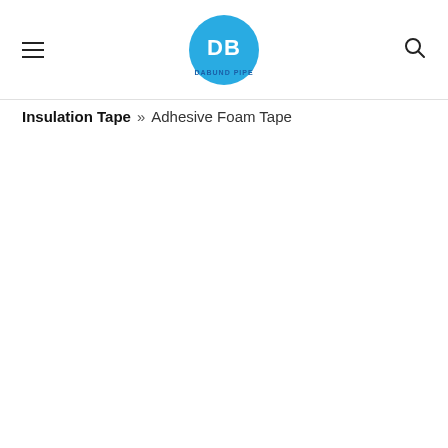DB DABUND PIPE
Insulation Tape » Adhesive Foam Tape